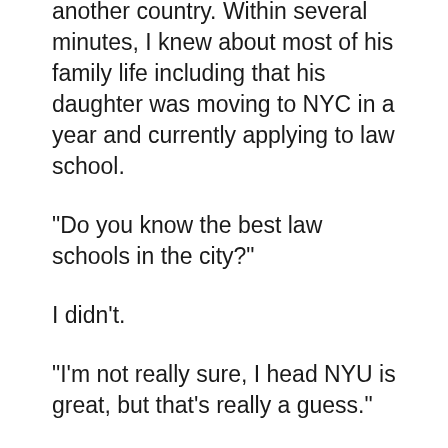another country. Within several minutes, I knew about most of his family life including that his daughter was moving to NYC in a year and currently applying to law school.
“Do you know the best law schools in the city?”
I didn’t.
“I’m not really sure, I head NYU is great, but that’s really a guess.”
He’s now dialing his phone. “Here, talk to my daughter. She will appreciate your advice.”
The girl and I proceeded to have a very confused but sweet conversation about her hopes for law school, how she’d already found several great one